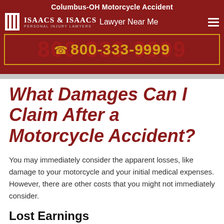Columbus-OH Motorcycle Accident Lawyer Near Me
[Figure (logo): Isaacs & Isaacs Personal Injury Lawyers logo with white columns icon]
800-333-9999
What Damages Can I Claim After a Motorcycle Accident?
You may immediately consider the apparent losses, like damage to your motorcycle and your initial medical expenses. However, there are other costs that you might not immediately consider.
Lost Earnings